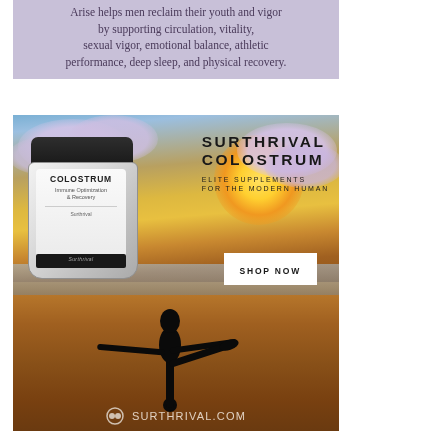Arise helps men reclaim their youth and vigor by supporting circulation, vitality, sexual vigor, emotional balance, athletic performance, deep sleep, and physical recovery.
[Figure (advertisement): Surthrival Colostrum advertisement showing a product jar on the left, bold brand text 'SURTHRIVAL COLOSTRUM / ELITE SUPPLEMENTS / FOR THE MODERN HUMAN' on the right with a SHOP NOW button, a yoga/warrior pose silhouette at the bottom against a sunset beach background, and 'SURTHRIVAL.COM' at the bottom.]